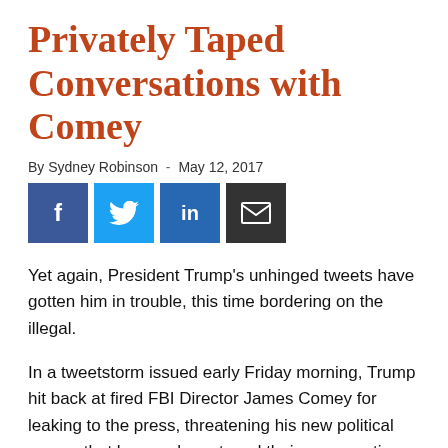Privately Taped Conversations with Comey
By Sydney Robinson  -  May 12, 2017
[Figure (other): Social media share buttons: Facebook (blue), Twitter (light blue), LinkedIn (dark blue), Email (black)]
Yet again, President Trump's unhinged tweets have gotten him in trouble, this time bordering on the illegal.
In a tweetstorm issued early Friday morning, Trump hit back at fired FBI Director James Comey for leaking to the press, threatening his new political enemy that he may have taped their conversations and would use those recordings against him if need be.